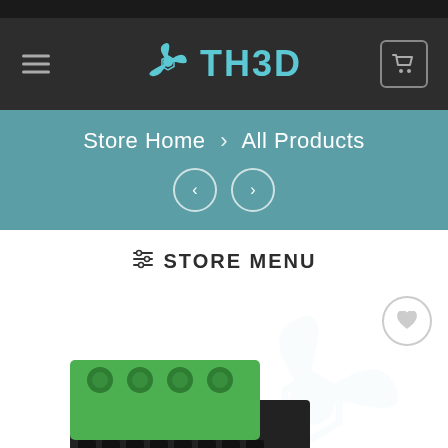TH3D
Store Home > All Products
STORE MENU
[Figure (photo): Green and black electronic connector/terminal block component with TH3D watermark logo behind it, partially cut off at the bottom of the page]